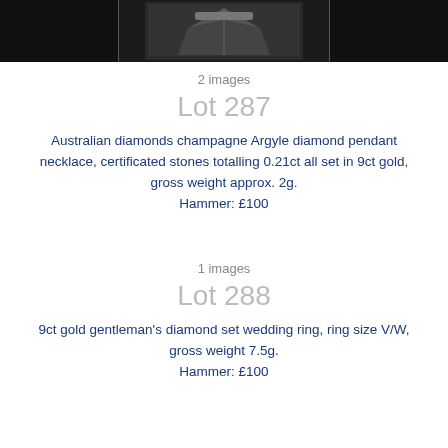[Figure (photo): Partial photo of a diamond pendant necklace on dark background, top portion visible]
2 images
Lot 287
Australian diamonds champagne Argyle diamond pendant necklace, certificated stones totalling 0.21ct all set in 9ct gold, gross weight approx. 2g.
Hammer: £100
1 images
Lot 288
9ct gold gentleman's diamond set wedding ring, ring size V/W, gross weight 7.5g.
Hammer: £100